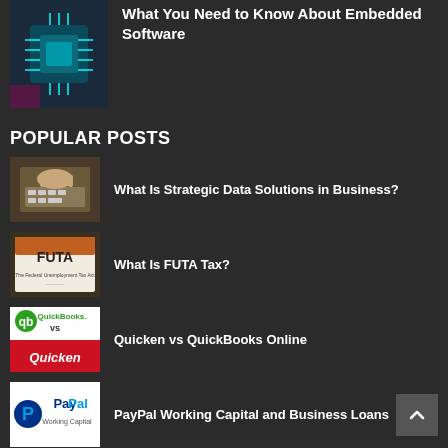[Figure (photo): Circuit board / embedded software thumbnail image]
What You Need to Know About Embedded Software
POPULAR POSTS
[Figure (photo): Person typing on keyboard - strategic data solutions thumbnail]
What Is Strategic Data Solutions in Business?
[Figure (photo): FUTA tax document thumbnail]
What Is FUTA Tax?
[Figure (logo): QuickBooks vs Quicken logo thumbnail]
Quicken vs QuickBooks Online
[Figure (logo): PayPal logo thumbnail]
PayPal Working Capital and Business Loans